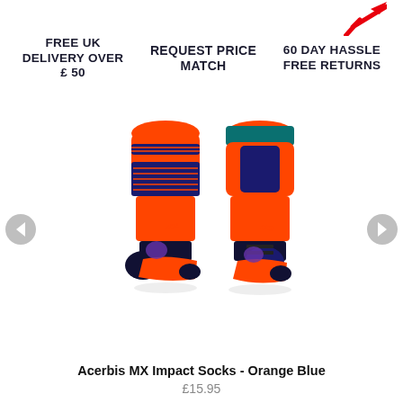FREE UK DELIVERY OVER £ 50
REQUEST PRICE MATCH
60 DAY HASSLE FREE RETURNS
[Figure (photo): Two Acerbis MX Impact Socks in orange and blue colorway shown from front and back angles]
Acerbis MX Impact Socks - Orange Blue
£15.95